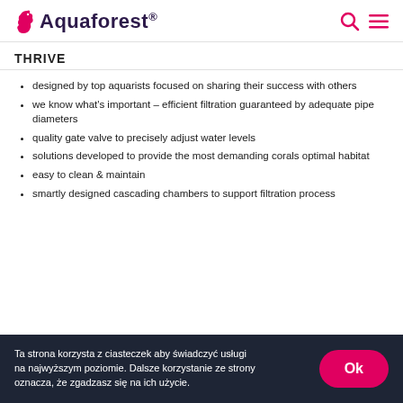Aquaforest®
THRIVE
designed by top aquarists focused on sharing their success with others
we know what's important – efficient filtration guaranteed by adequate pipe diameters
quality gate valve to precisely adjust water levels
solutions developed to provide the most demanding corals optimal habitat
easy to clean & maintain
smartly designed cascading chambers to support filtration process
Ta strona korzysta z ciasteczek aby świadczyć usługi na najwyższym poziomie. Dalsze korzystanie ze strony oznacza, że zgadzasz się na ich użycie.